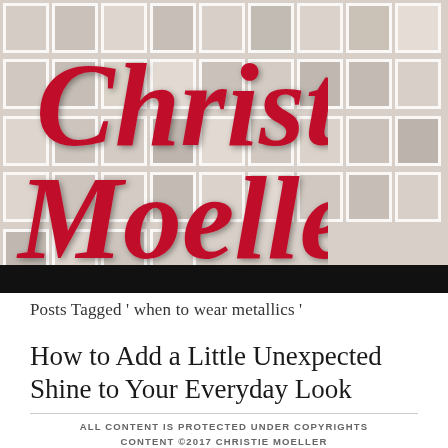[Figure (logo): Christie Moeller script logo in red/crimson cursive text over a blurred polaroid photo grid background]
Posts Tagged ' when to wear metallics '
How to Add a Little Unexpected Shine to Your Everyday Look
ALL CONTENT IS PROTECTED UNDER COPYRIGHTS CONTENT ©2017 CHRISTIE MOELLER